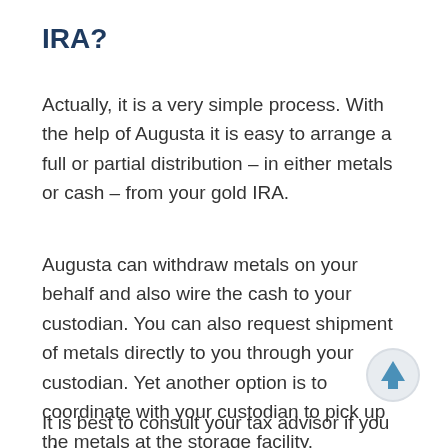IRA?
Actually, it is a very simple process. With the help of Augusta it is easy to arrange a full or partial distribution – in either metals or cash – from your gold IRA.
Augusta can withdraw metals on your behalf and also wire the cash to your custodian. You can also request shipment of metals directly to you through your custodian. Yet another option is to coordinate with your custodian to pick up the metals at the storage facility.
It is best to consult your tax advisor if you plan